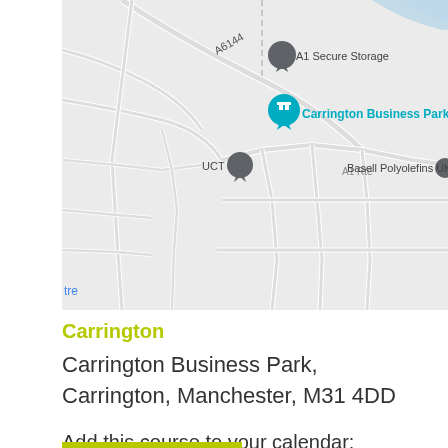[Figure (map): Google Maps style map showing Carrington area with markers for A1 Secure Storage, Carrington Business Park (teal marker), and UCT (grey marker). Road A6144 is labeled. Basell Polyolefins UK and A1 Rte are also visible. Roads shown on light grey background.]
Carrington
Carrington Business Park, Carrington, Manchester, M31 4DD
Add this course to your calendar: